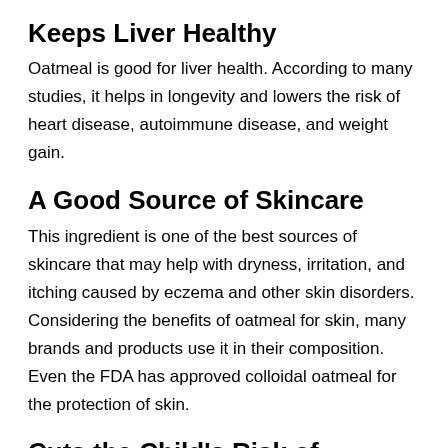Keeps Liver Healthy
Oatmeal is good for liver health. According to many studies, it helps in longevity and lowers the risk of heart disease, autoimmune disease, and weight gain.
A Good Source of Skincare
This ingredient is one of the best sources of skincare that may help with dryness, irritation, and itching caused by eczema and other skin disorders. Considering the benefits of oatmeal for skin, many brands and products use it in their composition. Even the FDA has approved colloidal oatmeal for the protection of skin.
Cuts the Child’s Risk of Asthma
Many studies have supported the claim that oatmeal